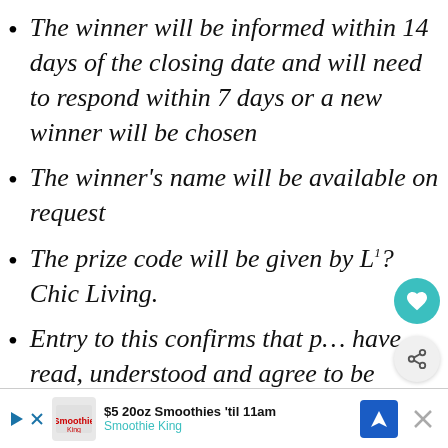The winner will be informed within 14 days of the closing date and will need to respond within 7 days or a new winner will be chosen
The winner's name will be available on request
The prize code will be given by L[...]Chic Living.
Entry to this confirms that p[...] have read, understood and agree to be